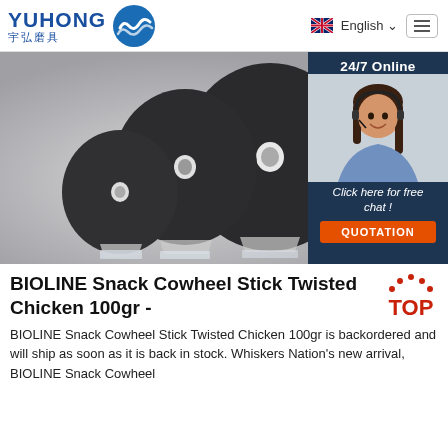YUHONG 宇弘磨具 | English
[Figure (photo): Three dark circular grinding/cutting discs on acrylic stands against a light grey background, with a customer service chat overlay on the right showing a female agent wearing a headset, '24/7 Online' text, 'Click here for free chat!' text, and an orange QUOTATION button.]
BIOLINE Snack Cowheel Stick Twisted Chicken 100gr -
BIOLINE Snack Cowheel Stick Twisted Chicken 100gr is backordered and will ship as soon as it is back in stock. Whiskers Nation's new arrival, BIOLINE Snack Cowheel